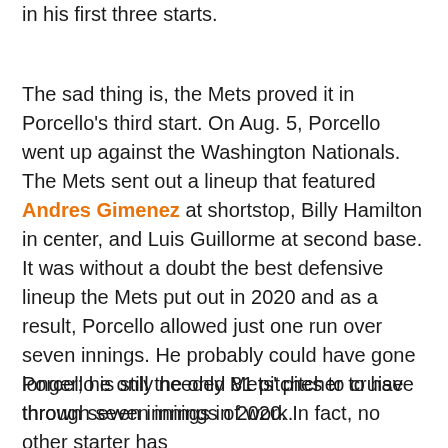in his first three starts.
The sad thing is, the Mets proved it in Porcello's third start. On Aug. 5, Porcello went up against the Washington Nationals. The Mets sent out a lineup that featured Andres Gimenez at shortstop, Billy Hamilton in center, and Luis Guillorme at second base. It was without a doubt the best defensive lineup the Mets put out in 2020 and as a result, Porcello allowed just one run over seven innings. He probably could have gone longer; he only needed 81 pitches to cruise through seven innings of work.
Porcello is still the only Mets' pitcher to have thrown seven innings in 2020. In fact, no other starter has